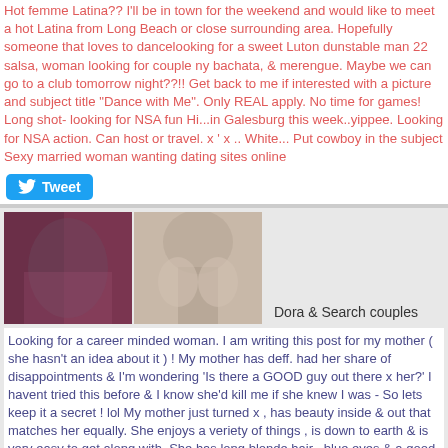Hot femme Latina?? I'll be in town for the weekend and would like to meet a hot Latina from Long Beach or close surrounding area. Hopefully someone that loves to dancelooking for a sweet Luton dunstable man 22 salsa, woman looking for couple ny bachata, & merengue. Maybe we can go to a club tomorrow night??!! Get back to me if interested with a picture and subject title "Dance with Me". Only REAL apply. No time for games! Long shot- looking for NSA fun Hi...in Galesburg this week..yippee. Looking for NSA action. Can host or travel. x ' x .. White... Put cowboy in the subject Sexy married woman wanting dating sites online
[Figure (photo): Two side-by-side photos: left shows a woman from behind wearing a black bra with colorful background; right shows a close-up torso image]
Dora & Search couples
Looking for a career minded woman. I am writing this post for my mother ( she hasn't an idea about it ) ! My mother has deff. had her share of disappointments & I'm wondering 'Is there a GOOD guy out there x her?' I havent tried this before & I know she'd kill me if she knew I was - So lets keep it a secret ! lol My mother just turned x , has beauty inside & out that matches her equally. She enjoys a veriety of things , is down to earth & is very easy to get along with. She has long blonde hair , blue eyes & a good body. We are a family of x ! x ren & a single parent. She has grown so strong and carried us all through these past years with out a hesistant